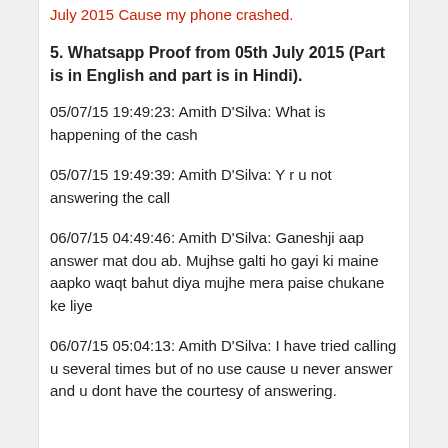July 2015 Cause my phone crashed.
5. Whatsapp Proof from 05th July 2015 (Part is in English and part is in Hindi).
05/07/15 19:49:23: Amith D'Silva: What is happening of the cash
05/07/15 19:49:39: Amith D'Silva: Y r u not answering the call
06/07/15 04:49:46: Amith D'Silva: Ganeshji aap answer mat dou ab. Mujhse galti ho gayi ki maine aapko waqt bahut diya mujhe mera paise chukane ke liye
06/07/15 05:04:13: Amith D'Silva: I have tried calling u several times but of no use cause u never answer and u dont have the courtesy of answering.